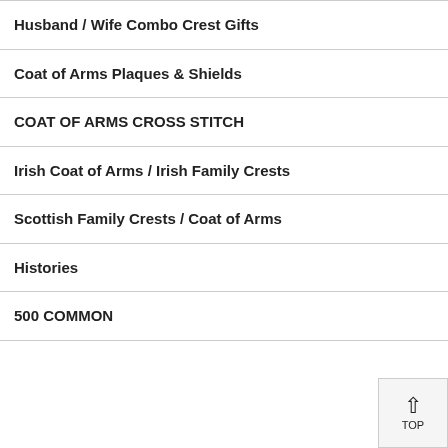Husband / Wife Combo Crest Gifts
Coat of Arms Plaques & Shields
COAT OF ARMS CROSS STITCH
Irish Coat of Arms / Irish Family Crests
Scottish Family Crests / Coat of Arms
Histories
500 COMMON